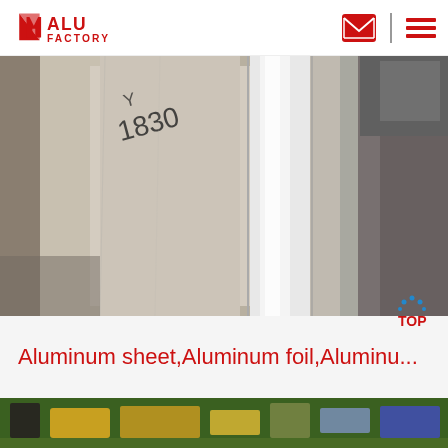ALU FACTORY
[Figure (photo): Industrial aluminum sheets or rolls stored vertically in a warehouse, with handwritten markings visible on the surface. The materials appear silvery-metallic.]
Aluminum sheet,Aluminum foil,Aluminu...
[Figure (photo): Factory floor showing industrial machinery and workers operating equipment, with green painted floors and yellow metallic parts visible.]